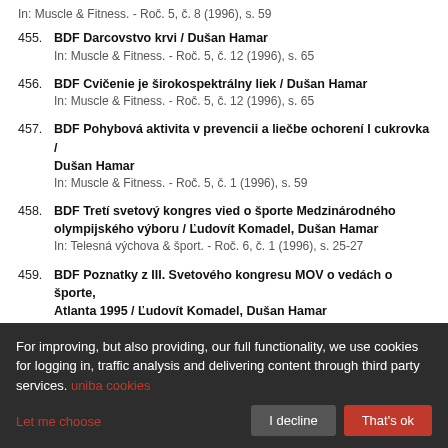In: Muscle & Fitness. - Roč. 5, č. 8 (1996), s. 59
455. BDF Darcovstvo krvi / Dušan Hamar
In: Muscle & Fitness. - Roč. 5, č. 12 (1996), s. 65
456. BDF Cvičenie je širokospektrálny liek / Dušan Hamar
In: Muscle & Fitness. - Roč. 5, č. 12 (1996), s. 65
457. BDF Pohybová aktivita v prevencii a liečbe ochorení I cukrovka / Dušan Hamar
In: Muscle & Fitness. - Roč. 5, č. 1 (1996), s. 59
458. BDF Tretí svetový kongres vied o športe Medzinárodného olympijského výboru / Ľudovít Komadel, Dušan Hamar
In: Telesná výchova & šport. - Roč. 6, č. 1 (1996), s. 25-27
459. BDF Poznatky z III. Svetového kongresu MOV o vedách o športe, Atlanta 1995 / Ľudovít Komadel, Dušan Hamar
In: Olympijský spravodaj : Zdravotná príprava na hry XXVI. olympiády v Atlante. - Č. 10 (1996), s. 24-29
460. BDF Pohybová aktivita v prevencii a liečbe ochorení Reumatoidná artritída / Dušan Hamar
For improving, but also providing, our full functionality, we use cookies for logging in, traffic analysis and delivering content through third party services. uniba cookies
Let me choose | I decline | That's ok